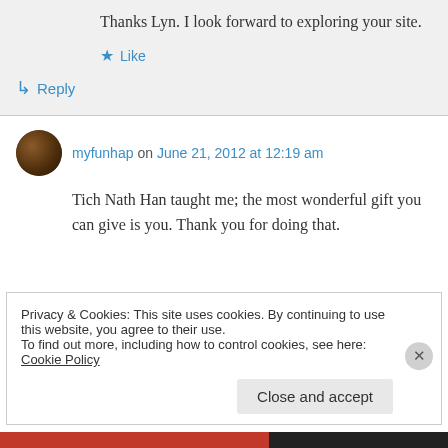Thanks Lyn. I look forward to exploring your site.
Like
Reply
myfunhap on June 21, 2012 at 12:19 am
Tich Nath Han taught me; the most wonderful gift you can give is you. Thank you for doing that.
Privacy & Cookies: This site uses cookies. By continuing to use this website, you agree to their use.
To find out more, including how to control cookies, see here: Cookie Policy
Close and accept